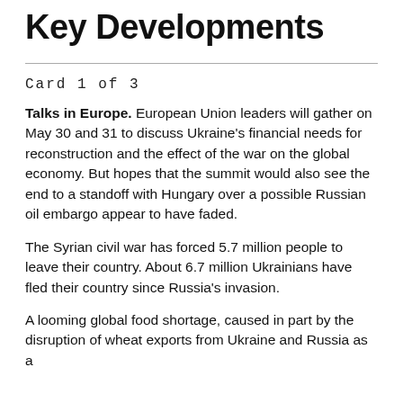Key Developments
Card 1 of 3
Talks in Europe. European Union leaders will gather on May 30 and 31 to discuss Ukraine's financial needs for reconstruction and the effect of the war on the global economy. But hopes that the summit would also see the end to a standoff with Hungary over a possible Russian oil embargo appear to have faded.
The Syrian civil war has forced 5.7 million people to leave their country. About 6.7 million Ukrainians have fled their country since Russia's invasion.
A looming global food shortage, caused in part by the disruption of wheat exports from Ukraine and Russia as a